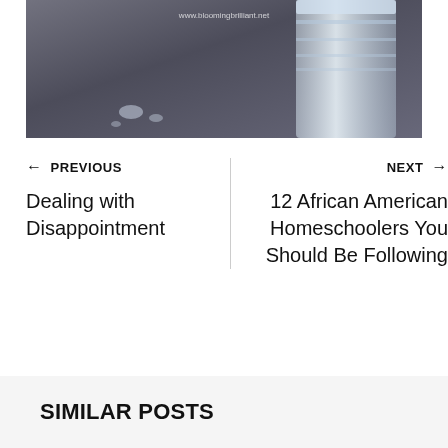[Figure (photo): Photo of a glass jar on a dark surface with water droplets, watermark reads www.bloomingbrilliant.net]
← PREVIOUS
Dealing with Disappointment
NEXT →
12 African American Homeschoolers You Should Be Following
SIMILAR POSTS